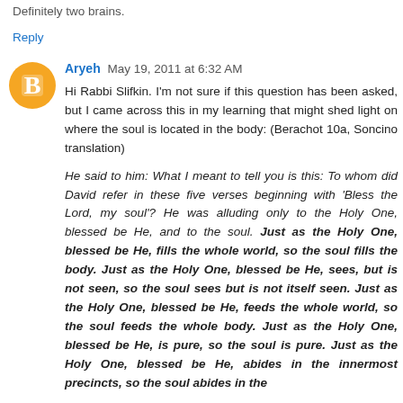Definitely two brains.
Reply
Aryeh May 19, 2011 at 6:32 AM
Hi Rabbi Slifkin. I'm not sure if this question has been asked, but I came across this in my learning that might shed light on where the soul is located in the body: (Berachot 10a, Soncino translation)
He said to him: What I meant to tell you is this: To whom did David refer in these five verses beginning with 'Bless the Lord, my soul'? He was alluding only to the Holy One, blessed be He, and to the soul. Just as the Holy One, blessed be He, fills the whole world, so the soul fills the body. Just as the Holy One, blessed be He, sees, but is not seen, so the soul sees but is not itself seen. Just as the Holy One, blessed be He, feeds the whole world, so the soul feeds the whole body. Just as the Holy One, blessed be He, is pure, so the soul is pure. Just as the Holy One, blessed be He, abides in the innermost precincts, so the soul abides in the